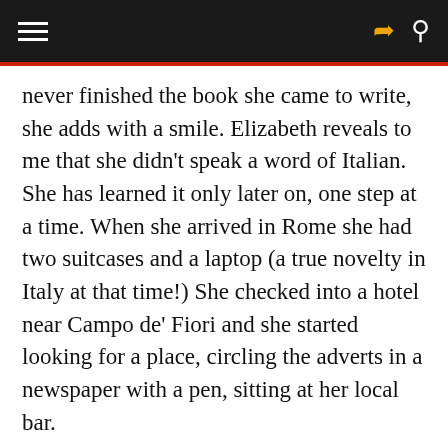≡  ↪ 🔍
never finished the book she came to write, she adds with a smile. Elizabeth reveals to me that she didn't speak a word of Italian. She has learned it only later on, one step at a time. When she arrived in Rome she had two suitcases and a laptop (a true novelty in Italy at that time!) She checked into a hotel near Campo de' Fiori and she started looking for a place, circling the adverts in a newspaper with a pen, sitting at her local bar.
As she was supposed to remain in Rome for only three months, I wonder what made her fall in love with the Italian capital. It is the city that